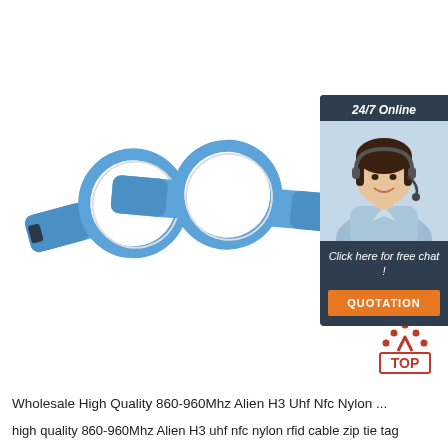[Figure (photo): Two blue RFID wristbands with velcro straps and circular white NFC disc inlays on a white background]
[Figure (infographic): 24/7 Online chat widget with photo of female customer service agent with headset and orange QUOTATION button]
[Figure (logo): Red TOP arrow logo with dots]
Wholesale High Quality 860-960Mhz Alien H3 Uhf Nfc Nylon ...
high quality 860-960Mhz Alien H3 uhf nfc nylon rfid cable zip tie tag